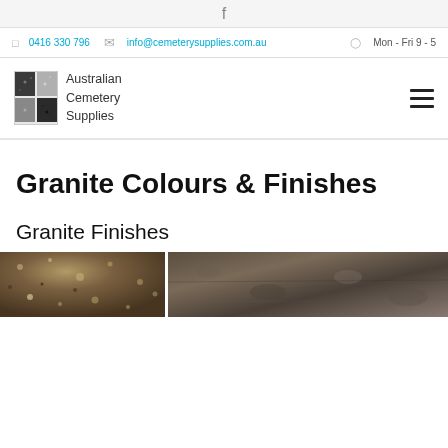f
📱 0416 330 796  ✉ info@cemeterysupplies.com.au  🕐 Mon - Fri 9 - 5
[Figure (logo): Australian Cemetery Supplies logo with black and white granite image and cursive text reading 'Australian Cemetery Supplies']
Granite Colours & Finishes
Granite Finishes
[Figure (photo): Close-up photograph of granite stone samples showing different finishes and textures in brown and grey tones, divided into two sections by a white gap]